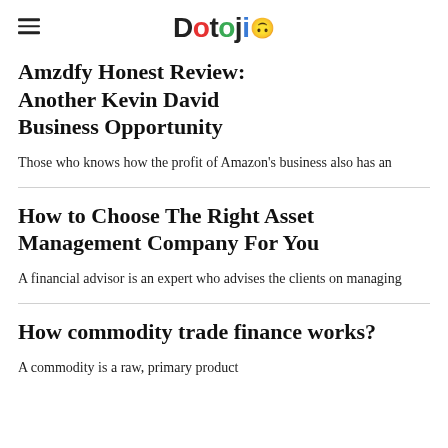Dotoji
Amzdfy Honest Review: Another Kevin David Business Opportunity
Those who knows how the profit of Amazon's business also has an
How to Choose The Right Asset Management Company For You
A financial advisor is an expert who advises the clients on managing
How commodity trade finance works?
A commodity is a raw, primary product